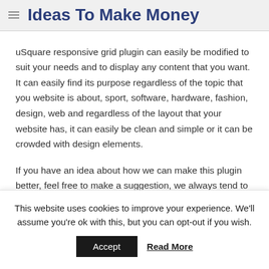Ideas To Make Money
uSquare responsive grid plugin can easily be modified to suit your needs and to display any content that you want. It can easily find its purpose regardless of the topic that you website is about, sport, software, hardware, fashion, design, web and regardless of the layout that your website has, it can easily be clean and simple or it can be crowded with design elements.
If you have an idea about how we can make this plugin better, feel free to make a suggestion, we always tend to
This website uses cookies to improve your experience. We'll assume you're ok with this, but you can opt-out if you wish.
Accept   Read More